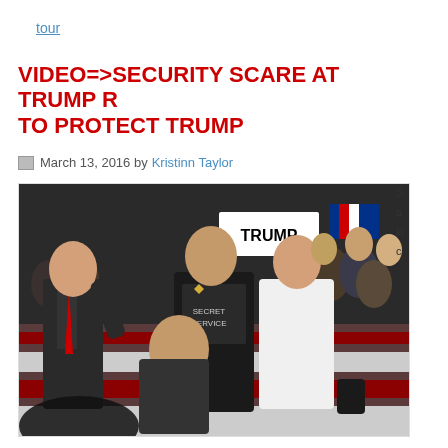tour
VIDEO=>SECURITY SCARE AT TRUMP R TO PROTECT TRUMP
March 13, 2016 by Kristinn Taylor
[Figure (photo): Security personnel and law enforcement restraining a person at a Trump rally, with crowd and Trump banner in the background. A Secret Service agent in tactical vest with sheriff star badge is visible.]
S a ki c